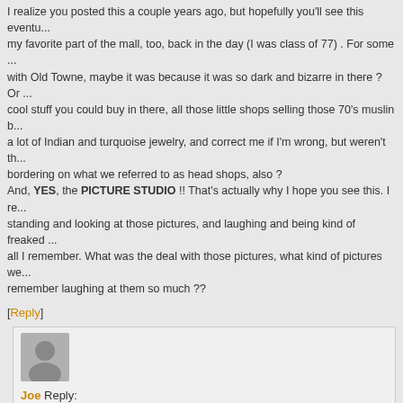I realize you posted this a couple years ago, but hopefully you'll see this eventu... my favorite part of the mall, too, back in the day (I was class of 77) . For some ... with Old Towne, maybe it was because it was so dark and bizarre in there ? Or ... cool stuff you could buy in there, all those little shops selling those 70's muslin b... a lot of Indian and turquoise jewelry, and correct me if I'm wrong, but weren't th... bordering on what we referred to as head shops, also ? And, YES, the PICTURE STUDIO !! That's actually why I hope you see this. I re... standing and looking at those pictures, and laughing and being kind of freaked ... all I remember. What was the deal with those pictures, what kind of pictures we... remember laughing at them so much ??
[Reply]
Joe Reply:
December 28th, 2010 at 9:45 pm
@Cindo, i enjoyed your story I recently saw about Southwyck Mall..I went the... younger too!
[Reply]